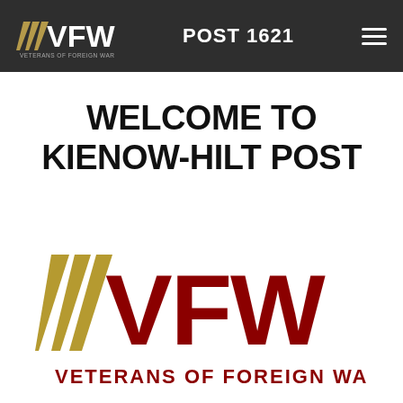VFW VETERANS OF FOREIGN WARS. POST 1621
WELCOME TO KIENOW-HILT POST
[Figure (logo): VFW Veterans of Foreign Wars large logo with gold diagonal stripes and red VFW lettering, with text VETERANS OF FOREIGN WARS. below]